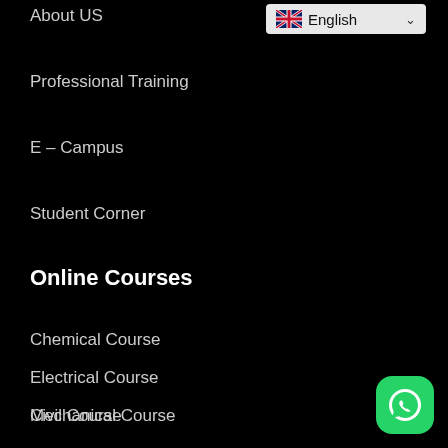About US
[Figure (screenshot): Language selector dropdown showing UK flag and 'English' with chevron]
Professional Training
E – Campus
Student Corner
Online Courses
Chemical Course
Electrical Course
Mechanical Course
Civil Course
[Figure (logo): WhatsApp green icon button in bottom right corner]